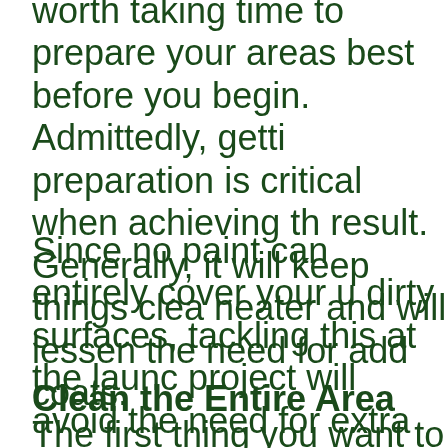worth taking time to prepare your areas best before you begin. Admittedly, getting preparation is critical when achieving the result. Generally, it will keep things cleaner and will lessen the need for additional coats.
Since no paint can entirely cover your unclean dirty surfaces, tackling this at the launch of your project will avoid the need for extra work. Below are some of the preparations you need to do before applying new coats of paint.
Clean the Entire Area
The first thing you want to do is to move